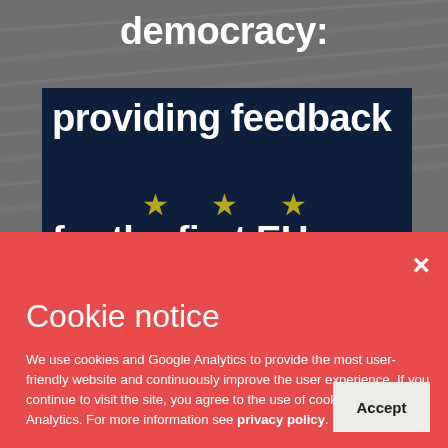[Figure (screenshot): Background showing EU Parliament/flag imagery in dark grey, with dark navy box containing EU stars and partial title text about democracy and providing feedback for the first EU...]
democracy: providing feedback for the first EU
×
Cookie notice
We use cookies and Google Analytics to provide the most user-friendly website and continuously improve the user experience. If you continue to visit the site, you agree to the use of cookies and Google Analytics. For more information see privacy policy.
Accept